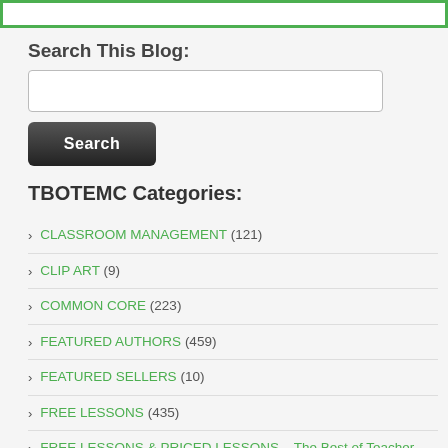[Figure (other): Top decorative bar with green border]
Search This Blog:
[Figure (other): Search input field (empty text box)]
[Figure (other): Search button (dark grey/black button labeled 'Search')]
TBOTEMC Categories:
CLASSROOM MANAGEMENT (121)
CLIP ART (9)
COMMON CORE (223)
FEATURED AUTHORS (459)
FEATURED SELLERS (10)
FREE LESSONS (435)
FREE LESSONS & PRICED LESSONS – The Best of Teacher Entrepreneurs (2,337)
GRADE LEVELS (5,340)